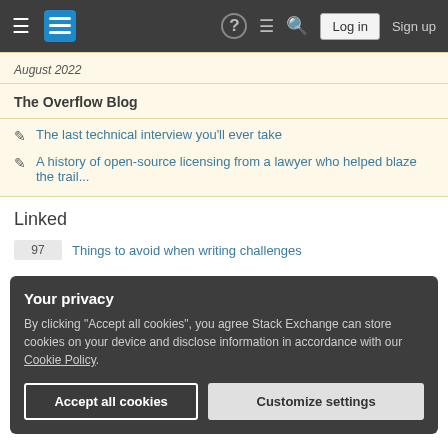Stack Exchange navigation bar with logo, question mark, chat, search, Log in, Sign up
August 2022
The Overflow Blog
The last technical interview you'll ever take
A history of open-source licensing from a lawyer who helped blaze the trail...
Linked
97  Things to avoid when writing challenges
Your privacy
By clicking "Accept all cookies", you agree Stack Exchange can store cookies on your device and disclose information in accordance with our Cookie Policy.
9  A simple, clean and modern challenge about palindromes